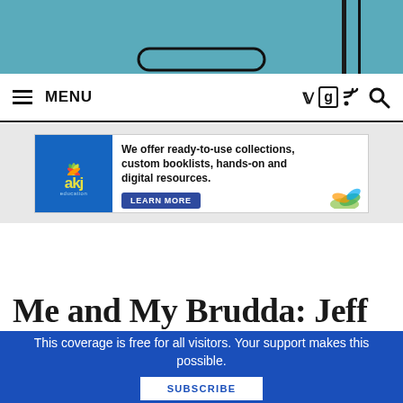[Figure (photo): Top portion of a book cover image with teal/blue textured background, partial circular shape visible, vertical dark lines on the right side]
≡ MENU   [Twitter icon] [Goodreads icon] [RSS icon] [Search icon]
[Figure (other): AKJ Education advertisement banner: 'We offer ready-to-use collections, custom booklists, hands-on and digital resources.' with LEARN MORE button]
Me and My Brudda: Jeff
This coverage is free for all visitors. Your support makes this possible.
SUBSCRIBE